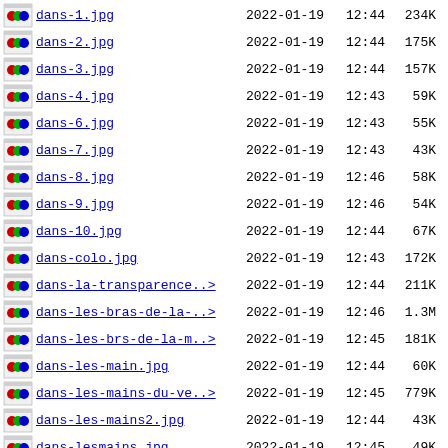dans-1.jpg  2022-01-19 12:44  234K
dans-2.jpg  2022-01-19 12:44  175K
dans-3.jpg  2022-01-19 12:44  157K
dans-4.jpg  2022-01-19 12:43   59K
dans-6.jpg  2022-01-19 12:43   55K
dans-7.jpg  2022-01-19 12:43   43K
dans-8.jpg  2022-01-19 12:46   58K
dans-9.jpg  2022-01-19 12:46   54K
dans-10.jpg  2022-01-19 12:44   67K
dans-colo.jpg  2022-01-19 12:43  172K
dans-la-transparence..>  2022-01-19 12:44  211K
dans-les-bras-de-la-..>  2022-01-19 12:46  1.3M
dans-les-brs-de-la-m..>  2022-01-19 12:45  181K
dans-les-main.jpg  2022-01-19 12:44   60K
dans-les-mains-du-ve..>  2022-01-19 12:45  779K
dans-les-mains2.jpg  2022-01-19 12:44   43K
dans-lesmains.jpg  2022-01-19 12:45   49K